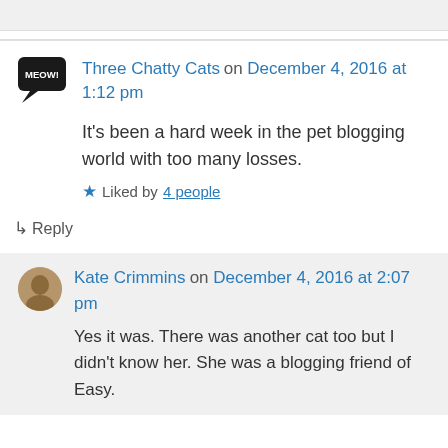Three Chatty Cats on December 4, 2016 at 1:12 pm
It's been a hard week in the pet blogging world with too many losses.
Liked by 4 people
↳ Reply
Kate Crimmins on December 4, 2016 at 2:07 pm
Yes it was. There was another cat too but I didn't know her. She was a blogging friend of Easy.